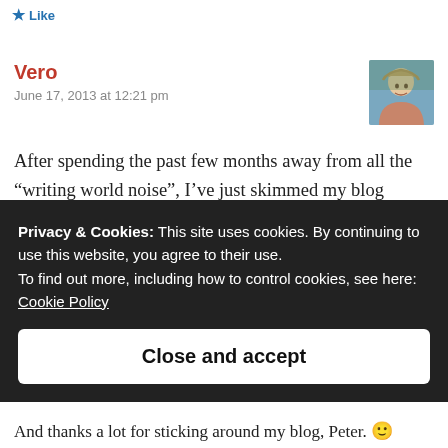Like
Vero
June 17, 2013 at 12:21 pm
[Figure (photo): Avatar photo of commenter Vero, a woman with blonde hair outdoors]
After spending the past few months away from all the “writing world noise”, I’ve just skimmed my blog subscription list and cleaned out all the tiresome, nagging and repeating blogs about how to become a successful
Privacy & Cookies: This site uses cookies. By continuing to use this website, you agree to their use.
To find out more, including how to control cookies, see here:
Cookie Policy
Close and accept
And thanks a lot for sticking around my blog, Peter. 🙂